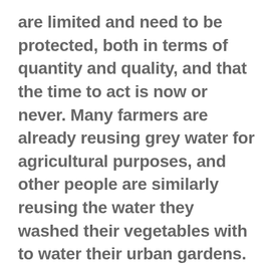are limited and need to be protected, both in terms of quantity and quality, and that the time to act is now or never. Many farmers are already reusing grey water for agricultural purposes, and other people are similarly reusing the water they washed their vegetables with to water their urban gardens. We can also make more ecological choices in our food habits. For example, growing 1 kg of potatoes requires only 100 litres of water, whereas raising 1 kg of beef requires an astoundingly inefficient